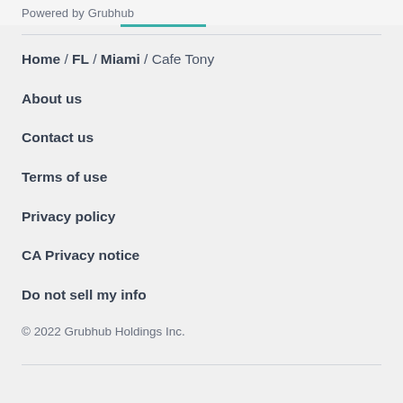Powered by Grubhub
Home / FL / Miami / Cafe Tony
About us
Contact us
Terms of use
Privacy policy
CA Privacy notice
Do not sell my info
© 2022 Grubhub Holdings Inc.